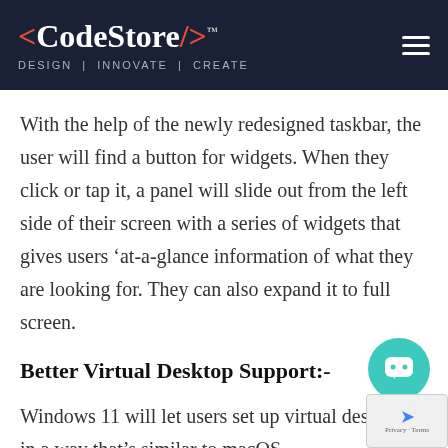<CodeStore/> TM — DESIGN | INNOVATE | CREATE
With the help of the newly redesigned taskbar, the user will find a button for widgets. When they click or tap it, a panel will slide out from the left side of their screen with a series of widgets that gives users 'at-a-glance information of what they are looking for. They can also expand it to full screen.
Better Virtual Desktop Support:-
Windows 11 will let users set up virtual desktops in a way that's similar to macOS,